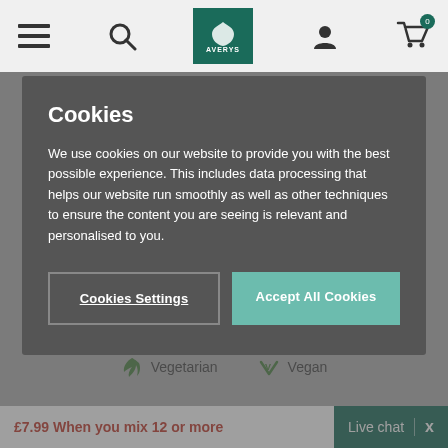Averys website header with menu, search, logo, account, and cart icons
Cookies
We use cookies on our website to provide you with the best possible experience. This includes data processing that helps our website run smoothly as well as other techniques to ensure the content you are seeing is relevant and personalised to you.
Cookies Settings | Accept All Cookies
117 Reviews
France   Syrah Based Blend
Vegetarian   Vegan
£7.99 When you mix 12 or more
Live chat